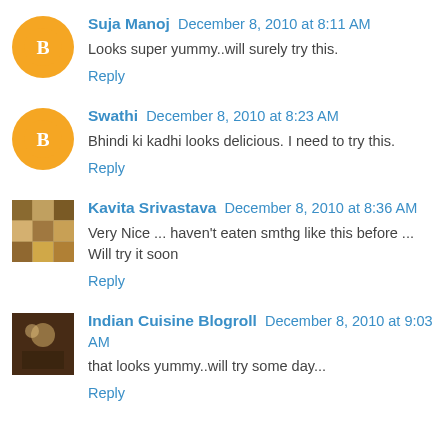Suja Manoj  December 8, 2010 at 8:11 AM
Looks super yummy..will surely try this.
Reply
Swathi  December 8, 2010 at 8:23 AM
Bhindi ki kadhi looks delicious. I need to try this.
Reply
Kavita Srivastava  December 8, 2010 at 8:36 AM
Very Nice ... haven't eaten smthg like this before ... Will try it soon
Reply
Indian Cuisine Blogroll  December 8, 2010 at 9:03 AM
that looks yummy..will try some day...
Reply